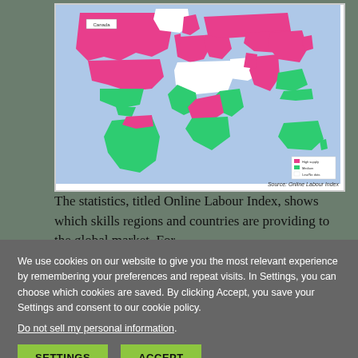[Figure (map): World map (Online Labour Index) showing countries colored in pink/magenta, green, and white indicating different categories of online labour. Canada is labeled. Source: Online Labour Index noted at bottom right.]
The statistics, titled Online Labour Index, shows which skills regions and countries are providing to the global market. For
We use cookies on our website to give you the most relevant experience by remembering your preferences and repeat visits. In Settings, you can choose which cookies are saved. By clicking Accept, you save your Settings and consent to our cookie policy.
Do not sell my personal information.
SETTINGS
ACCEPT